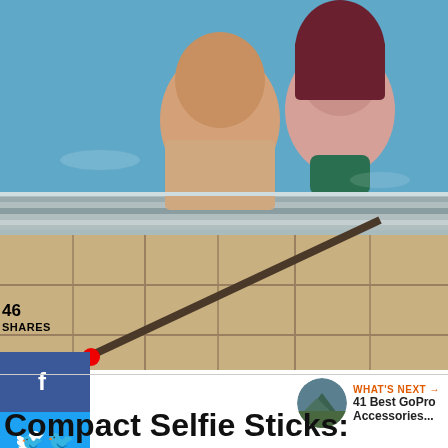[Figure (photo): Two people in a swimming pool making funny faces (sticking out tongues, wide eyes) while holding a selfie stick with a GoPro camera. Poolside tiles visible in foreground.]
46 SHARES
[Figure (infographic): Social share sidebar with Facebook (blue), Twitter (blue), and Pinterest (red) share buttons, and a red notification dot.]
[Figure (infographic): Heart (like) button showing 49 likes, and a share icon button, both overlaid on the photo at bottom right.]
[Figure (photo): Small circular thumbnail image for What's Next section showing a mountain/outdoor scene.]
WHAT'S NEXT → 41 Best GoPro Accessories...
Compact Selfie Sticks: Under